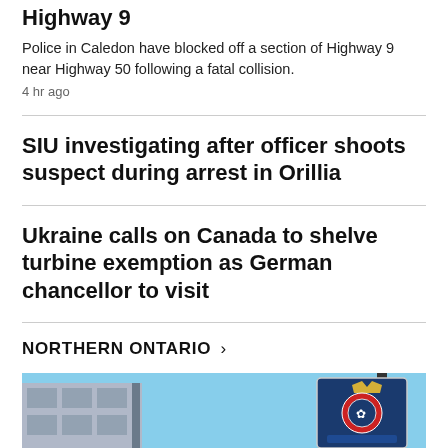Highway 9
Police in Caledon have blocked off a section of Highway 9 near Highway 50 following a fatal collision.
4 hr ago
SIU investigating after officer shoots suspect during arrest in Orillia
Ukraine calls on Canada to shelve turbine exemption as German chancellor to visit
NORTHERN ONTARIO >
[Figure (photo): Photo showing a building exterior and a police/authority sign with a crown and emblem against a blue sky]